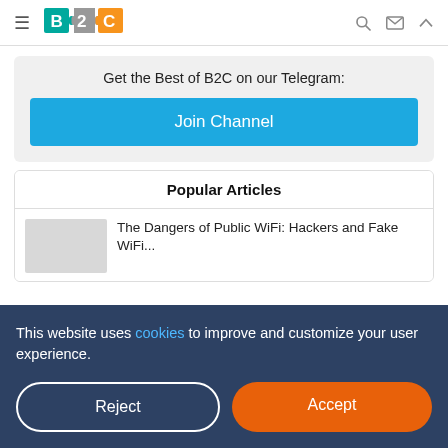[Figure (logo): B2C logo with puzzle piece design, teal B, gray 2, orange C]
Get the Best of B2C on our Telegram:
Join Channel
Popular Articles
The Dangers of Public WiFi: Hackers and Fake WiFi...
This website uses cookies to improve and customize your user experience.
Reject
Accept
by James Spillane